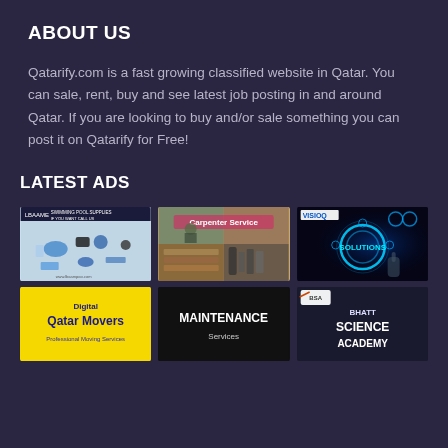ABOUT US
Qatarify.com is a fast growing classified website in Qatar. You can sale, rent, buy and see latest job posting in and around Qatar. If you are looking to buy and/or sale something you can post it on Qatarify for Free!
LATEST ADS
[Figure (photo): Pool/spa supplies advertisement showing various blue equipment and accessories]
[Figure (photo): Carpenter Service advertisement showing carpentry work collage]
[Figure (photo): VISIOQ Solutions advertisement showing a hand touching a glowing digital circle with SOLUTIONS text]
[Figure (photo): Digital Qatar Movers advertisement with yellow background]
[Figure (photo): MAINTENANCE advertisement with dark background]
[Figure (photo): Bhatt Science Academy advertisement]